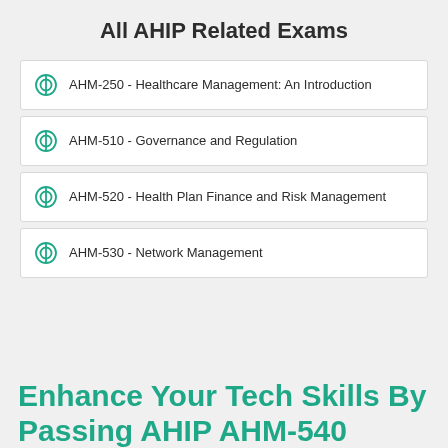All AHIP Related Exams
AHM-250 - Healthcare Management: An Introduction
AHM-510 - Governance and Regulation
AHM-520 - Health Plan Finance and Risk Management
AHM-530 - Network Management
Enhance Your Tech Skills By Passing AHIP AHM-540